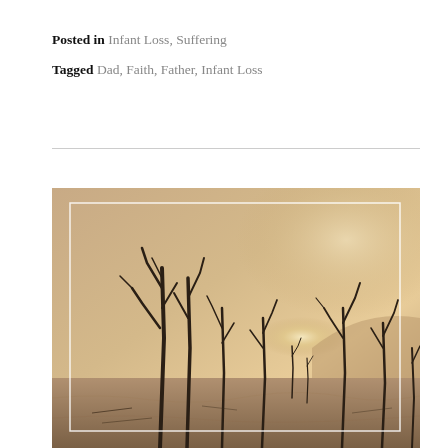Posted in Infant Loss, Suffering
Tagged Dad, Faith, Father, Infant Loss
[Figure (photo): A desolate landscape with dead, bare, twisted trees against a hazy warm golden-sepia sky. The scene shows a barren wasteland with sparse dead vegetation and a bright light source glowing through the fog on the horizon. A white rectangular border is overlaid inside the photo edges.]